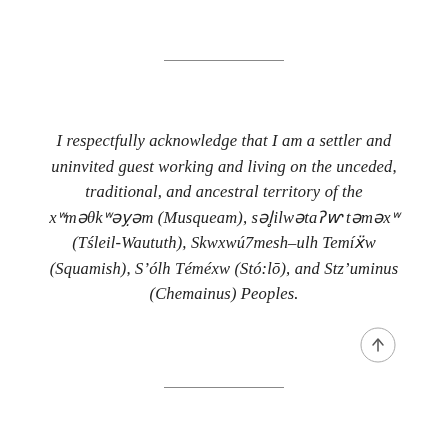I respectfully acknowledge that I am a settler and uninvited guest working and living on the unceded, traditional, and ancestral territory of the xʷməθkʷəy̓əm (Musqueam), səl̓ilwətaʔɬ təməxʷ (Tśleil-Waututh), Skwxwú7mesh-ulh Temíxw (Squamish), S'ólh Téméxw (Stó:lō), and Stz'uminus (Chemainus) Peoples.